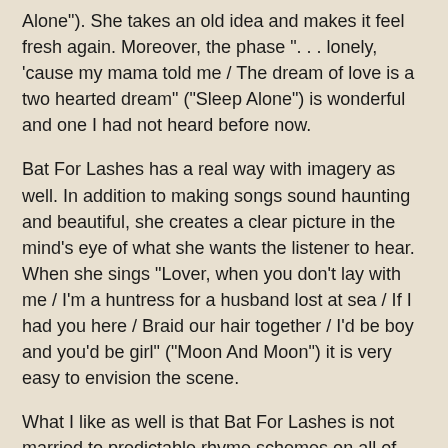Alone"). She takes an old idea and makes it feel fresh again. Moreover, the phase ". . . lonely, 'cause my mama told me / The dream of love is a two hearted dream" ("Sleep Alone") is wonderful and one I had not heard before now.
Bat For Lashes has a real way with imagery as well. In addition to making songs sound haunting and beautiful, she creates a clear picture in the mind's eye of what she wants the listener to hear. When she sings "Lover, when you don't lay with me / I'm a huntress for a husband lost at sea / If I had you here / Braid our hair together / I'd be boy and you'd be girl" ("Moon And Moon") it is very easy to envision the scene.
What I like as well is that Bat For Lashes is not married to predictable rhyme schemes on all of the songs. The poetics of the lines "Never fall in love with potential / 'Cause you can't see with your own eyes / All the pretty faces and sorry words / Can take away your pride / Got to listen to the vision" ("Travelling Woman") are distinctive.
I've been listening to Two Suns in pretty high rotation over